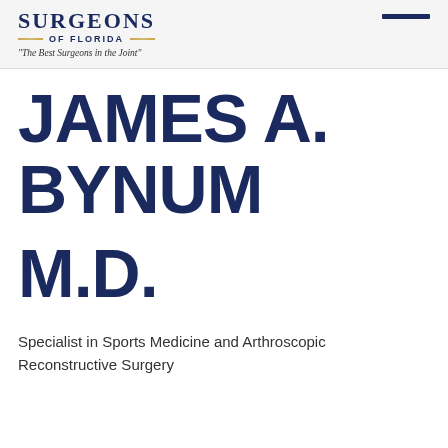SURGEONS OF FLORIDA — "The Best Surgeons in the Joint"
JAMES A. BYNUM M.D.
Specialist in Sports Medicine and Arthroscopic Reconstructive Surgery